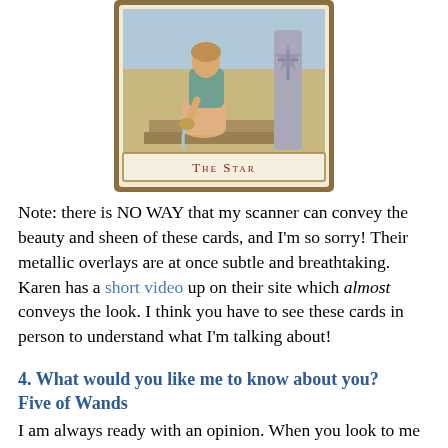[Figure (illustration): A tarot card image showing 'The Star' — a figure seated on stone steps pouring water, with a pillar decorated with a cross/star motif beside them, against a blue sky background. The card has a gold border and a label box at the bottom reading 'The Star' in red small-caps serif text.]
Note: there is NO WAY that my scanner can convey the beauty and sheen of these cards, and I'm so sorry! Their metallic overlays are at once subtle and breathtaking. Karen has a short video up on their site which almost conveys the look. I think you have to see these cards in person to understand what I'm talking about!
4. What would you like me to know about you?
Five of Wands
I am always ready with an opinion. When you look to me for ideas I will volunteer an abundance of them, never fear!
My fiery wands burn bright in the fray! And although my images